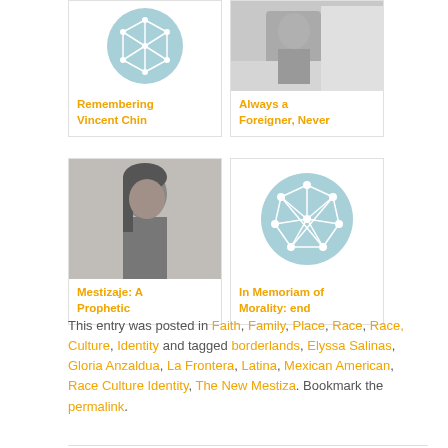[Figure (illustration): Card with teal circle network icon and title: Remembering Vincent Chin]
[Figure (photo): Card with black and white photo of person and title: Always a Foreigner, Never]
[Figure (photo): Card with black and white photo of young woman and title: Mestizaje: A Prophetic]
[Figure (illustration): Card with teal circle network icon and title: In Memoriam of Morality: end]
This entry was posted in Faith, Family, Place, Race, Race, Culture, Identity and tagged borderlands, Elyssa Salinas, Gloria Anzaldua, La Frontera, Latina, Mexican American, Race Culture Identity, The New Mestiza. Bookmark the permalink.